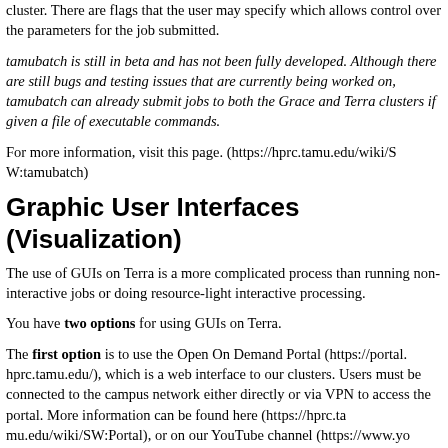cluster. There are flags that the user may specify which allows control over the parameters for the job submitted.
tamubatch is still in beta and has not been fully developed. Although there are still bugs and testing issues that are currently being worked on, tamubatch can already submit jobs to both the Grace and Terra clusters if given a file of executable commands.
For more information, visit this page. (https://hprc.tamu.edu/wiki/SW:tamubatch)
Graphic User Interfaces (Visualization)
The use of GUIs on Terra is a more complicated process than running non-interactive jobs or doing resource-light interactive processing.
You have two options for using GUIs on Terra.
The first option is to use the Open On Demand Portal (https://portal.hprc.tamu.edu/), which is a web interface to our clusters. Users must be connected to the campus network either directly or via VPN to access the portal. More information can be found here (https://hprc.tamu.edu/wiki/SW:Portal), or on our YouTube channel (https://www.youtube.com/watch?v=dcs3ZgsEmQs&list=PLlJR4IJLly3i4aJDyKT7...